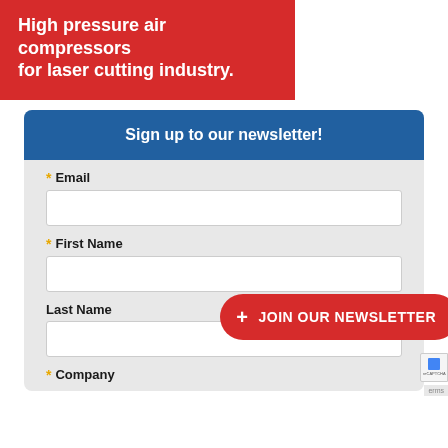High pressure air compressors for laser cutting industry.
Sign up to our newsletter!
* Email
* First Name
Last Name
[Figure (other): Red rounded button with plus sign and text: + JOIN OUR NEWSLETTER]
* Company